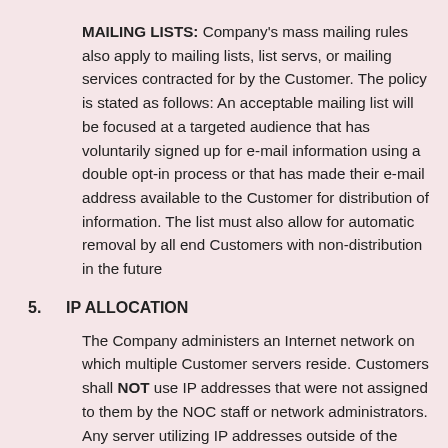MAILING LISTS: Company's mass mailing rules also apply to mailing lists, list servs, or mailing services contracted for by the Customer. The policy is stated as follows: An acceptable mailing list will be focused at a targeted audience that has voluntarily signed up for e-mail information using a double opt-in process or that has made their e-mail address available to the Customer for distribution of information. The list must also allow for automatic removal by all end Customers with non-distribution in the future
5.   IP ALLOCATION
The Company administers an Internet network on which multiple Customer servers reside. Customers shall NOT use IP addresses that were not assigned to them by the NOC staff or network administrators. Any server utilizing IP addresses outside of the assigned range will be suspended from network access until the IP addresses overlap can be corrected. Use of an unauthorized IP address will result in a charge of $20 per IP. Use of an unauthorized IP address creating a third party Customer